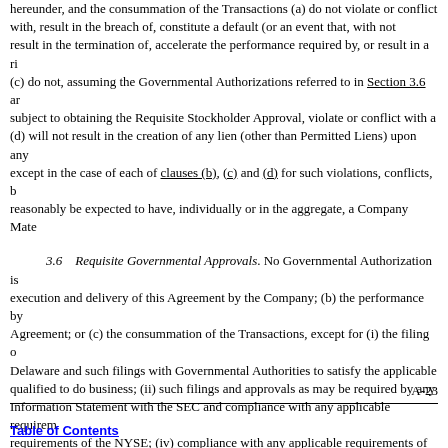hereunder, and the consummation of the Transactions (a) do not violate or conflict with, result in the breach of, constitute a default (or an event that, with no result in the termination of, accelerate the performance required by, or result in a ri (c) do not, assuming the Governmental Authorizations referred to in Section 3.6 ar subject to obtaining the Requisite Stockholder Approval, violate or conflict with a (d) will not result in the creation of any lien (other than Permitted Liens) upon any except in the case of each of clauses (b), (c) and (d) for such violations, conflicts, b reasonably be expected to have, individually or in the aggregate, a Company Mate
3.6   Requisite Governmental Approvals. No Governmental Authorization is execution and delivery of this Agreement by the Company; (b) the performance by Agreement; or (c) the consummation of the Transactions, except for (i) the filing o Delaware and such filings with Governmental Authorities to satisfy the applicable qualified to do business; (ii) such filings and approvals as may be required by any Information Statement with the SEC and compliance with any applicable requirem requirements of the NYSE; (iv) compliance with any applicable requirements of th other Governmental Authorizations the failure of which to obtain would not reaso Material Adverse Effect.
3.7   Company Capitalization.
(a)   Capital Stock. The authorized capital stock of the Company cor 50,000,000 shares of Company Preferred Stock. As of April 8, 2022 (such
A-23
Table of Contents